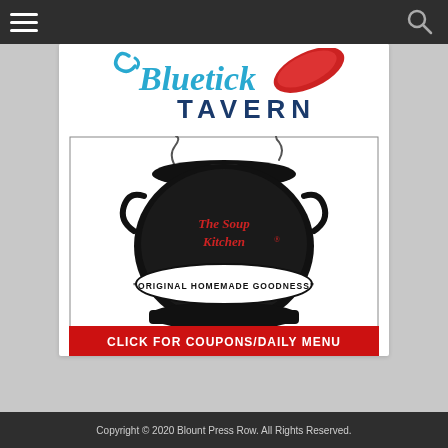[Figure (logo): Bluetick Tavern logo with blue cursive 'Bluetick' text and bold navy 'TAVERN' text, with decorative red and blue curved shapes]
[Figure (illustration): The Soup Kitchen advertisement. Black cauldron with steam, gothic text 'The Soup Kitchen' with registered trademark symbol, tagline 'ORIGINAL HOMEMADE GOODNESS', and red banner reading 'CLICK FOR COUPONS/DAILY MENU']
Copyright © 2020 Blount Press Row. All Rights Reserved.